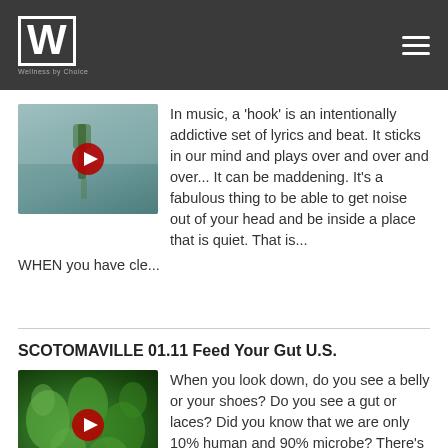Wellness by Choice
In music, a 'hook' is an intentionally addictive set of lyrics and beat. It sticks in our mind and plays over and over and over... It can be maddening. It's a fabulous thing to be able to get noise out of your head and be inside a place that is quiet. That is... WHEN you have cle...
SCOTOMAVILLE 01.11 Feed Your Gut U.S.
When you look down, do you see a belly or your shoes? Do you see a gut or laces? Did you know that we are only 10% human and 90% microbe? There's a coup underway. It's 100 trillion microbes against your intention. By feeding our gut, rather than our taste buds, we can culture our...